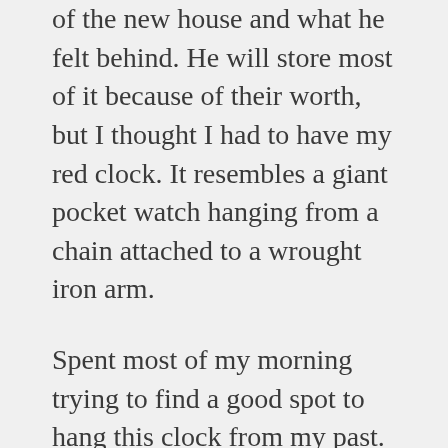of the new house and what he felt behind. He will store most of it because of their worth, but I thought I had to have my red clock. It resembles a giant pocket watch hanging from a chain attached to a wrought iron arm.
Spent most of my morning trying to find a good spot to hang this clock from my past. What was I thinking?
I tried two locations, and neither of them worked.
The first place I tried revealed rather quickly that it wouldn't take the weight of it, so I stopped before messing up the wall too badly